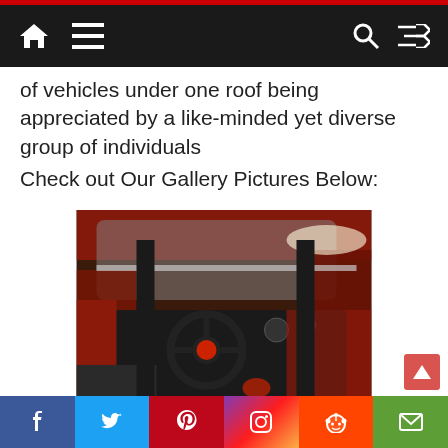Navigation bar with home, menu, search, and shuffle icons
of vehicles under one roof being appreciated by a like-minded yet diverse group of individuals
Check out Our Gallery Pictures Below:
[Figure (photo): Interior of a red custom car showing a steering wheel, dashboard, and red leather interior from an overhead angle]
[Figure (photo): Car show scene with people and vehicles, partially visible, showing dark colored car hood and engine]
Social share bar: Facebook, Twitter, Pinterest, Instagram, Reddit, Email